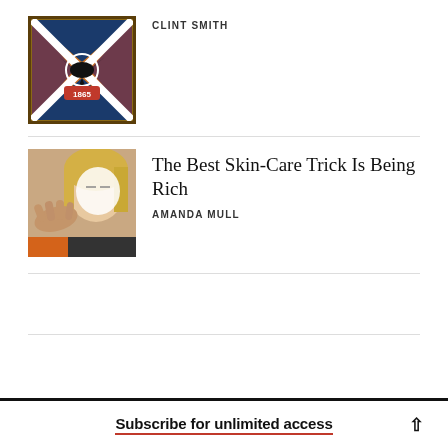[Figure (photo): Stained glass window depicting Confederate flag with a bird silhouette and the year 1865]
CLINT SMITH
[Figure (photo): Woman receiving a facial skin care treatment, white cream applied to face, eyes closed]
The Best Skin-Care Trick Is Being Rich
AMANDA MULL
Subscribe for unlimited access